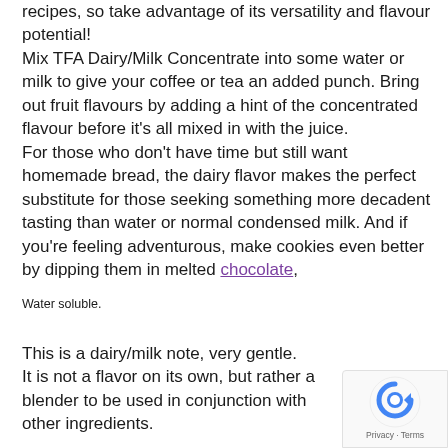recipes, so take advantage of its versatility and flavour potential!
Mix TFA Dairy/Milk Concentrate into some water or milk to give your coffee or tea an added punch. Bring out fruit flavours by adding a hint of the concentrated flavour before it's all mixed in with the juice.
For those who don't have time but still want homemade bread, the dairy flavor makes the perfect substitute for those seeking something more decadent tasting than water or normal condensed milk. And if you're feeling adventurous, make cookies even better by dipping them in melted chocolate,
Water soluble.
This is a dairy/milk note, very gentle.
It is not a flavor on its own, but rather a blender to be used in conjunction with other ingredients.